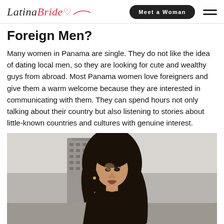Latina Bride — Meet a Woman
Foreign Men?
Many women in Panama are single. They do not like the idea of dating local men, so they are looking for cute and wealthy guys from abroad. Most Panama women love foreigners and give them a warm welcome because they are interested in communicating with them. They can spend hours not only talking about their country but also listening to stories about little-known countries and cultures with genuine interest.
[Figure (photo): Black and white portrait photo of a young woman with long curly dark hair, wearing a black top, with a building in the background.]